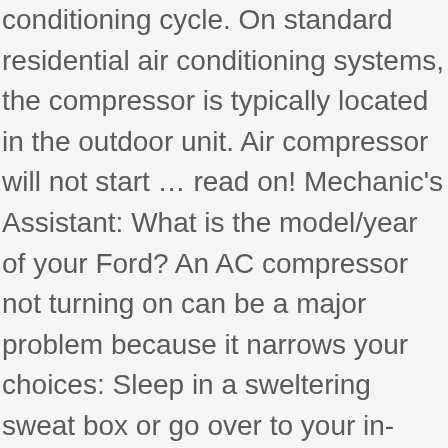conditioning cycle. On standard residential air conditioning systems, the compressor is typically located in the outdoor unit. Air compressor will not start … read on! Mechanic's Assistant: What is the model/year of your Ford? An AC compressor not turning on can be a major problem because it narrows your choices: Sleep in a sweltering sweat box or go over to your in-laws. If you plug in the compressor, the pressure switch response to the air leak and dropping compressor pressure will be to start the compressor again. If the fuses and breakers are fine, you may just have to call an HVAC contractor. Terminal Connections – The tech will also check the terminal connections to ensure that everything is tight and in place. If they are old and dirty, the unit … Troubleshooting a Porter Cable Air Compressor or a Bostitch